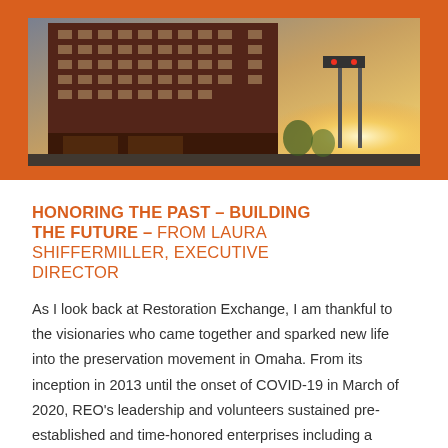[Figure (photo): Exterior rendering of a multi-story mixed-use building with brick facade, street-level retail, and a sunset sky with traffic lights in the foreground]
HONORING THE PAST – BUILDING THE FUTURE – FROM LAURA SHIFFERMILLER, EXECUTIVE DIRECTOR
As I look back at Restoration Exchange, I am thankful to the visionaries who came together and sparked new life into the preservation movement in Omaha. From its inception in 2013 until the onset of COVID-19 in March of 2020, REO's leadership and volunteers sustained pre-established and time-honored enterprises including a conference for